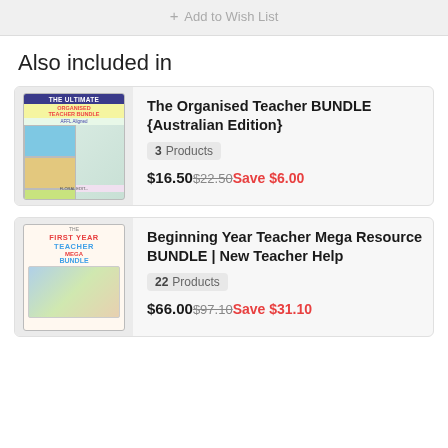+ Add to Wish List
Also included in
[Figure (illustration): Product bundle cover image for The Ultimate Organised Teacher Bundle with colorful photo collage]
The Organised Teacher BUNDLE {Australian Edition}
3 Products
$16.50 $22.50 Save $6.00
[Figure (illustration): Product bundle cover image for First Year Teacher Mega Bundle with colorful supplies photo]
Beginning Year Teacher Mega Resource BUNDLE | New Teacher Help
22 Products
$66.00 $97.10 Save $31.10